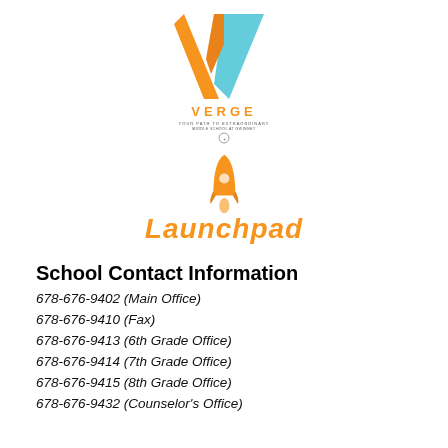[Figure (logo): VERGE school logo — a V-shaped chevron with orange left and blue right panels, with 'VERGE' text and tagline below, plus a smaller icon/badge beneath]
[Figure (logo): Launchpad logo — orange rocket icon above the word 'Launchpad' in orange rounded bubble lettering]
School Contact Information
678-676-9402 (Main Office)
678-676-9410 (Fax)
678-676-9413 (6th Grade Office)
678-676-9414 (7th Grade Office)
678-676-9415 (8th Grade Office)
678-676-9432 (Counselor's Office)